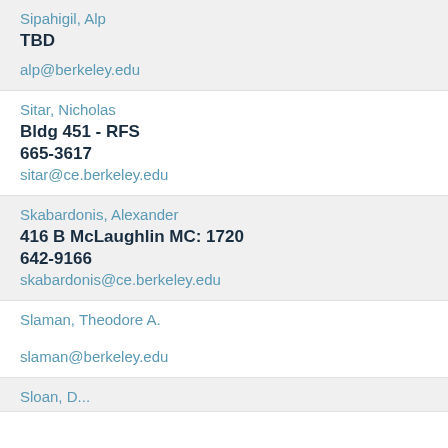Sipahigil, Alp
TBD
alp@berkeley.edu
Sitar, Nicholas
Bldg 451 - RFS
665-3617
sitar@ce.berkeley.edu
Skabardonis, Alexander
416 B McLaughlin MC: 1720
642-9166
skabardonis@ce.berkeley.edu
Slaman, Theodore A.
slaman@berkeley.edu
Sloan, D...